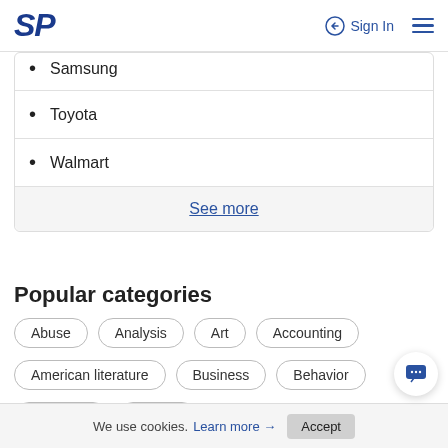SP | Sign In
Samsung
Toyota
Walmart
See more
Popular categories
Abuse
Analysis
Art
Accounting
American literature
Business
Behavior
Company
Culture
We use cookies. Learn more → Accept